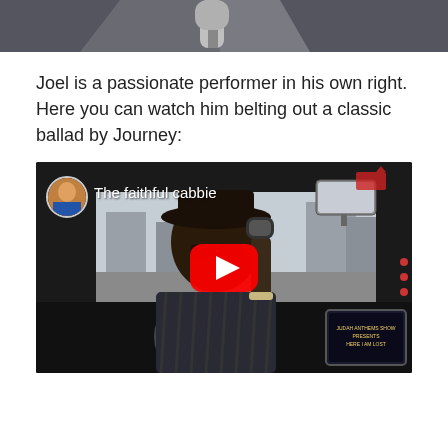[Figure (photo): Partial top image showing a man in a suit with a microphone, cropped to show upper portion]
Joel is a passionate performer in his own right. Here you can watch him belting out a classic ballad by Journey:
[Figure (screenshot): YouTube video thumbnail titled 'The faithful cabbie' showing a man in a taxi singing into a microphone, with a YouTube play button overlay]
...